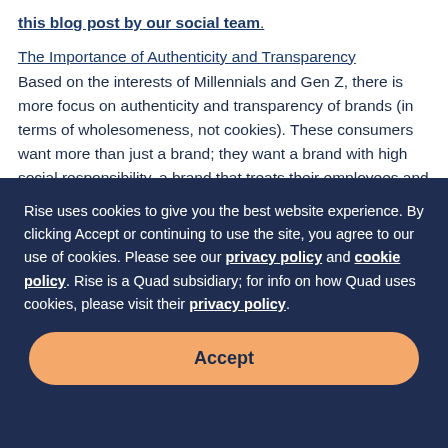this blog post by our social team.
The Importance of Authenticity and Transparency
Based on the interests of Millennials and Gen Z, there is more focus on authenticity and transparency of brands (in terms of wholesomeness, not cookies). These consumers want more than just a brand; they want a brand with high social responsibility, a brand that treats their employees and factory workers with respect, and a brand that values the opinions of their
Rise uses cookies to give you the best website experience. By clicking Accept or continuing to use the site, you agree to our use of cookies. Please see our privacy policy and cookie policy. Rise is a Quad subsidiary; for info on how Quad uses cookies, please visit their privacy policy.
Accept